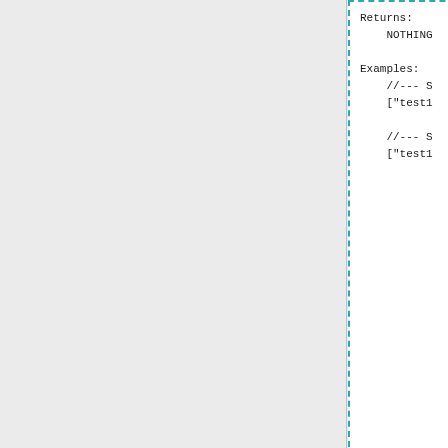[Figure (screenshot): Code documentation box with dashed teal border showing Returns: NOTHING and Examples: sections with code snippets starting with //--- s and ["test1...]
[Figure (screenshot): Gray card with white inner panel showing placeholder description text in blue link text 'Placeholder description' and body text 'extracted from the function header by BIS_fnc_ex...' with a small white rectangle icon]
[Figure (screenshot): Blue card with white inner panel showing 'This content' text]